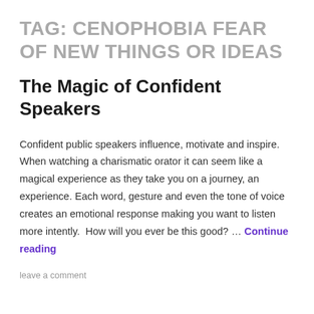TAG: CENOPHOBIA FEAR OF NEW THINGS OR IDEAS
The Magic of Confident Speakers
Confident public speakers influence, motivate and inspire.  When watching a charismatic orator it can seem like a magical experience as they take you on a journey, an experience. Each word, gesture and even the tone of voice creates an emotional response making you want to listen more intently.  How will you ever be this good? … Continue reading
leave a comment